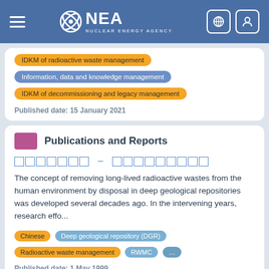NEA Nuclear Energy Agency
IDKM of radioactive waste management
Information, data and knowledge management
IDKM of decommissioning and legacy management
Published date: 15 January 2021
Publications and Reports
■■■■■■■ – ■■■■■■■■■
The concept of removing long-lived radioactive wastes from the human environment by disposal in deep geological repositories was developed several decades ago. In the intervening years, research effo...
Chinese
Deep geological repository (DGR)
Radioactive waste management
RWMC
...
Published date: 1 May 1999